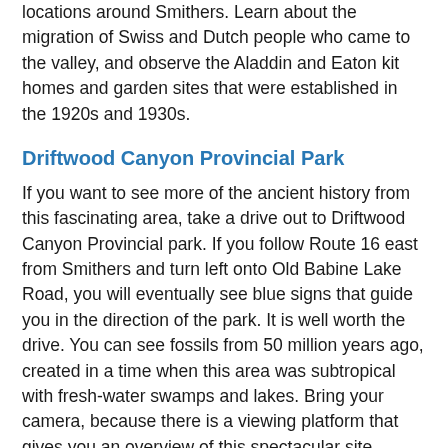locations around Smithers. Learn about the migration of Swiss and Dutch people who came to the valley, and observe the Aladdin and Eaton kit homes and garden sites that were established in the 1920s and 1930s.
Driftwood Canyon Provincial Park
If you want to see more of the ancient history from this fascinating area, take a drive out to Driftwood Canyon Provincial park. If you follow Route 16 east from Smithers and turn left onto Old Babine Lake Road, you will eventually see blue signs that guide you in the direction of the park. It is well worth the drive. You can see fossils from 50 million years ago, created in a time when this area was subtropical with fresh-water swamps and lakes. Bring your camera, because there is a viewing platform that gives you an overview of this spectacular site.
Visitors can also look at the fossils up close and even handle some of them, provided they are put back in their place, of